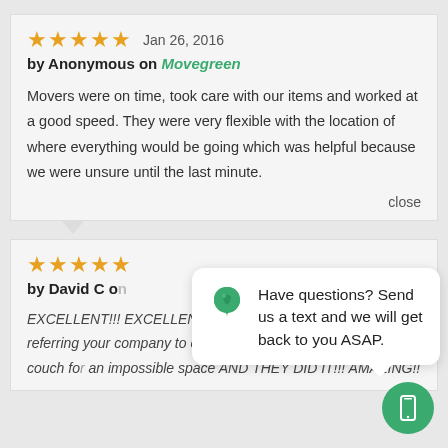Jan 26, 2016
by Anonymous on Movegreen
Movers were on time, took care with our items and worked at a good speed. They were very flexible with the location of where everything would be going which was helpful because we were unsure until the last minute.
close
by David C o...
EXCELLENT!!! EXCELLENT!!! EXCELLENT!!! We will be referring your company to others!! Kenny and JD moved a couch fo... an impossible space AND THEY DID IT!!! AMAZING!!
Have questions? Send us a text and we will get back to you ASAP.